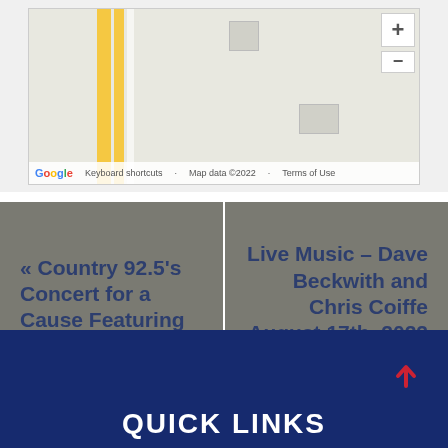[Figure (map): Google Maps partial view showing street map with yellow roads, building outlines, zoom controls (+/-). Footer shows Google logo, Keyboard shortcuts, Map data ©2022, Terms of Use.]
« Country 92.5's Concert for a Cause Featuring Eli Young Band
Live Music – Dave Beckwith and Chris Coiffe August 17th, 2022 »
QUICK LINKS